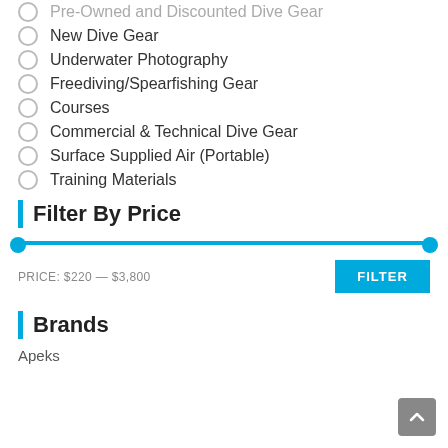Pre-Owned and Discounted Dive Gear
New Dive Gear
Underwater Photography
Freediving/Spearfishing Gear
Courses
Commercial & Technical Dive Gear
Surface Supplied Air (Portable)
Training Materials
Filter By Price
PRICE: $220 — $3,800
Brands
Apeks